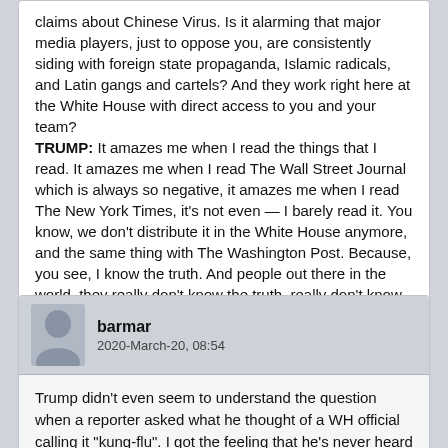claims about Chinese Virus. Is it alarming that major media players, just to oppose you, are consistently siding with foreign state propaganda, Islamic radicals, and Latin gangs and cartels? And they work right here at the White House with direct access to you and your team?

TRUMP: It amazes me when I read the things that I read. It amazes me when I read The Wall Street Journal which is always so negative, it amazes me when I read The New York Times, it's not even — I barely read it. You know, we don't distribute it in the White House anymore, and the same thing with The Washington Post. Because, you see, I know the truth. And people out there in the world, they really don't know the truth, really don't know what it is.
barmar
2020-March-20, 08:54
Trump didn't even seem to understand the question when a reporter asked what he thought of a WH official calling it "kung-flu". I got the feeling that he's never heard the term "kung-fu" or doesn't know what it refers to. How can someone so incredibly ignorant be President?